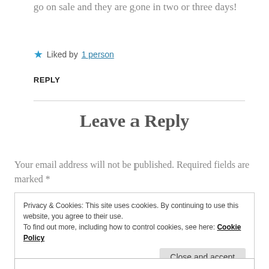go on sale and they are gone in two or three days!
★ Liked by 1 person
REPLY
Leave a Reply
Your email address will not be published. Required fields are marked *
Privacy & Cookies: This site uses cookies. By continuing to use this website, you agree to their use. To find out more, including how to control cookies, see here: Cookie Policy
Close and accept